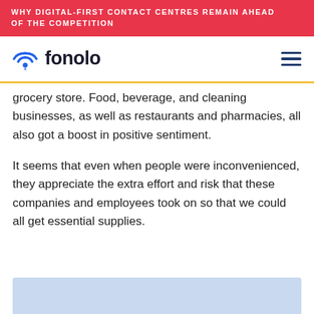WHY DIGITAL-FIRST CONTACT CENTRES REMAIN AHEAD OF THE COMPETITION
[Figure (logo): Fonolo logo with wifi/pin icon in blue and the word 'fonolo' in dark text]
grocery store. Food, beverage, and cleaning businesses, as well as restaurants and pharmacies, all also got a boost in positive sentiment.
It seems that even when people were inconvenienced, they appreciate the extra effort and risk that these companies and employees took on so that we could all get essential supplies.
[Figure (other): Light blue box at the bottom of the page, partially visible, suggesting a figure or callout box below]